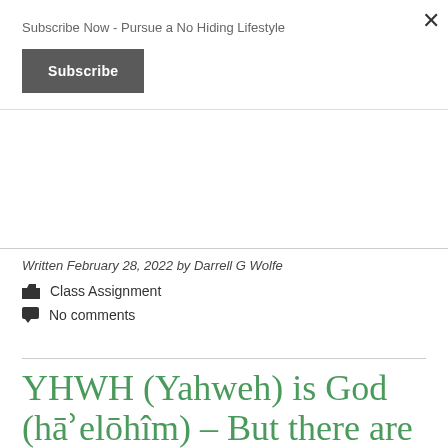Subscribe Now - Pursue a No Hiding Lifestyle
Subscribe
Written February 28, 2022 by Darrell G Wolfe
Class Assignment
No comments
YHWH (Yahweh) is God (hāʾelōhîm) – But there are other elohim.
It's about definitions of terms: אֱלֹהִים ʾelōhîm For